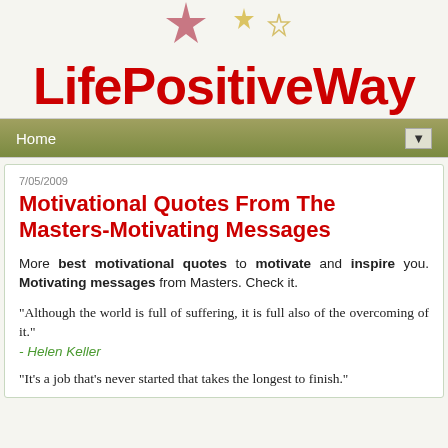[Figure (logo): LifePositiveWay website logo with red bold text and decorative stars above]
Home ▼
7/05/2009
Motivational Quotes From The Masters-Motivating Messages
More best motivational quotes to motivate and inspire you. Motivating messages from Masters. Check it.
"Although the world is full of suffering, it is full also of the overcoming of it."
- Helen Keller
"It's a job that's never started that takes the longest to finish."